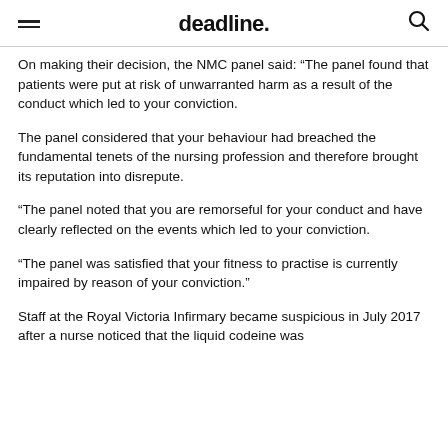deadline.
On making their decision, the NMC panel said: “The panel found that patients were put at risk of unwarranted harm as a result of the conduct which led to your conviction.
The panel considered that your behaviour had breached the fundamental tenets of the nursing profession and therefore brought its reputation into disrepute.
“The panel noted that you are remorseful for your conduct and have clearly reflected on the events which led to your conviction.
“The panel was satisfied that your fitness to practise is currently impaired by reason of your conviction.”
Staff at the Royal Victoria Infirmary became suspicious in July 2017 after a nurse noticed that the liquid codeine was